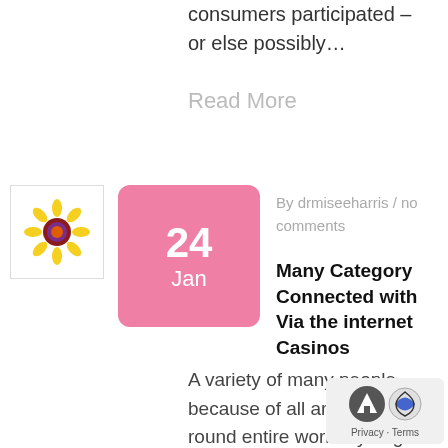consumers participated – or else possibly…
Read More
[Figure (illustration): Flower/sunflower icon thumbnail]
24 Jan
By drmiseeharris / no comments
Many Category Connected with Via the internet Casinos
A variety of many people because of all around the all round entire world try to get to be
[Figure (infographic): Privacy & Terms badge with scroll-up arrow icon and cookie/consent icon]